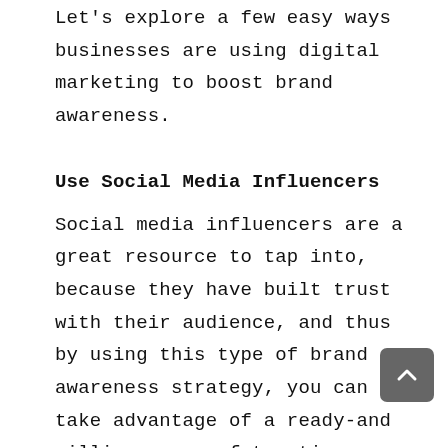Let's explore a few easy ways businesses are using digital marketing to boost brand awareness.
Use Social Media Influencers
Social media influencers are a great resource to tap into, because they have built trust with their audience, and thus by using this type of brand awareness strategy, you can take advantage of a ready-and willing group of trusting customers.
Use Branded Packaging & Personalize